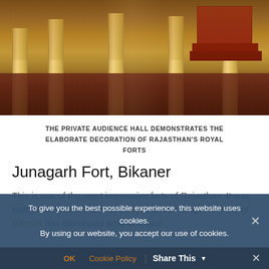[Figure (photo): Interior of the Private Audience Hall at a Rajasthani royal fort, showing ornate golden columns, intricate carved wall decorations, a red throne platform in the background, and a richly patterned dark red carpet on the floor.]
THE PRIVATE AUDIENCE HALL DEMONSTRATES THE ELABORATE DECORATION OF RAJASTHAN'S ROYAL FORTS
Junagarh Fort, Bikaner
This is one of the most impressive forts of Rajasthan. It was built between 1589 and 1593 by Raja Rai Singh. The city of Bikaner has developed around it, and
To give you the best possible experience, this website uses cookies. By using our website, you accept our use of cookies.
OK  Cookie Policy  Share This